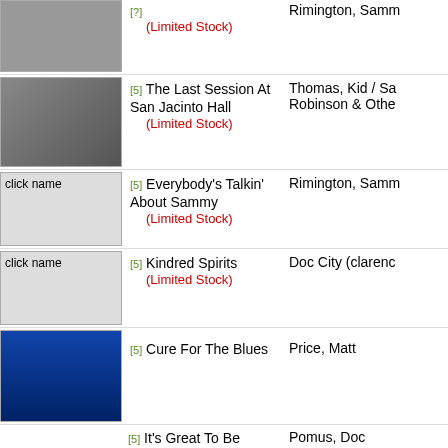[5] The Last Session At San Jacinto Hall (Limited Stock) | Thomas, Kid / Sa Robinson & Othe
[5] Everybody's Talkin' About Sammy (Limited Stock) | Rimington, Samm
[5] Kindred Spirits (Limited Stock) | Doc City (clarenc
[5] Cure For The Blues | Price, Matt
[5] It's Great To Be Young And In Love | Pomus, Doc
[5] Send For The Doctor | Pomus, Doc
[5] Guitar Artistry Of Doc Watson | Watson, Doc
[5] Doc Watson & David Grisman In Concert | Watson, Doc & D